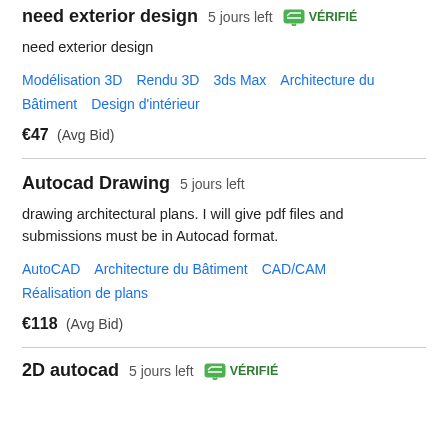need exterior design  5 jours left  VÉRIFIÉ
need exterior design
Modélisation 3D  Rendu 3D  3ds Max  Architecture du Bâtiment  Design d'intérieur
€47  (Avg Bid)
Autocad Drawing  5 jours left
drawing architectural plans. I will give pdf files and submissions must be in Autocad format.
AutoCAD  Architecture du Bâtiment  CAD/CAM  Réalisation de plans
€118  (Avg Bid)
2D autocad  5 jours left  VÉRIFIÉ